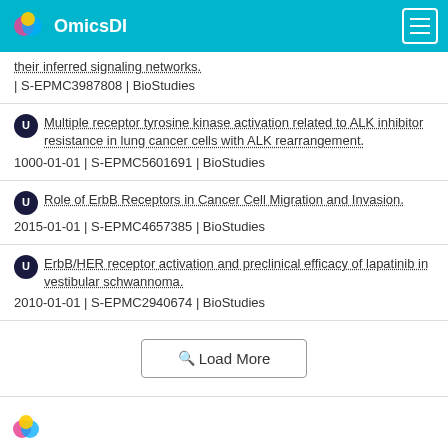OmicsDI
their inferred signaling networks.
| S-EPMC3987808 | BioStudies
Multiple receptor tyrosine kinase activation related to ALK inhibitor resistance in lung cancer cells with ALK rearrangement.
1000-01-01 | S-EPMC5601691 | BioStudies
Role of ErbB Receptors in Cancer Cell Migration and Invasion.
2015-01-01 | S-EPMC4657385 | BioStudies
ErbB/HER receptor activation and preclinical efficacy of lapatinib in vestibular schwannoma.
2010-01-01 | S-EPMC2940674 | BioStudies
Load More